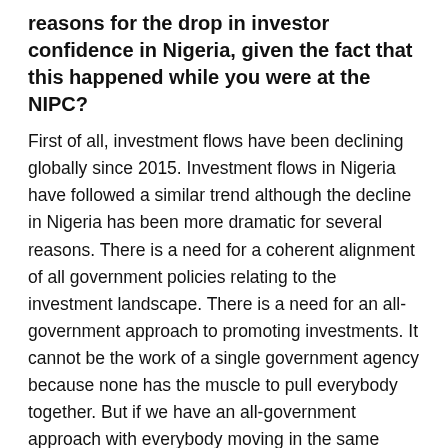reasons for the drop in investor confidence in Nigeria, given the fact that this happened while you were at the NIPC?
First of all, investment flows have been declining globally since 2015. Investment flows in Nigeria have followed a similar trend although the decline in Nigeria has been more dramatic for several reasons. There is a need for a coherent alignment of all government policies relating to the investment landscape. There is a need for an all-government approach to promoting investments. It cannot be the work of a single government agency because none has the muscle to pull everybody together. But if we have an all-government approach with everybody moving in the same direction, we are more likely to be successful.
In the years that Nigeria recorded its highest investment flows, government had bold policies that stimulated